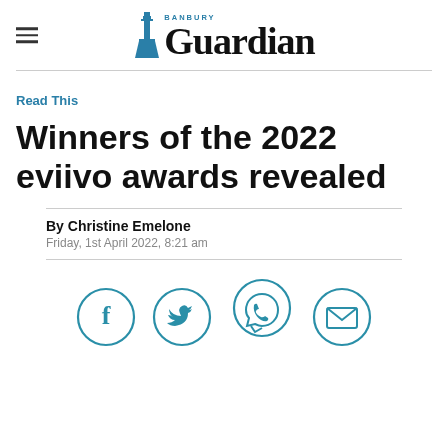Banbury Guardian
Read This
Winners of the 2022 eviivo awards revealed
By Christine Emelone
Friday, 1st April 2022, 8:21 am
[Figure (infographic): Social sharing icons: Facebook, Twitter, WhatsApp, Email — circular teal outlined icons]